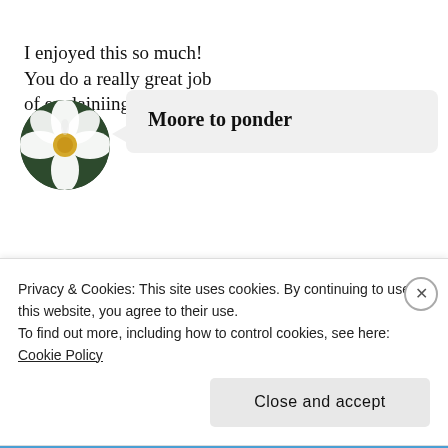[Figure (photo): Circular avatar showing a white flower with yellow center against dark green background]
Moore to ponder
I enjoyed this so much! You do a really great job of explainiing Biblical
Privacy & Cookies: This site uses cookies. By continuing to use this website, you agree to their use.
To find out more, including how to control cookies, see here: Cookie Policy
Close and accept
BROWSING